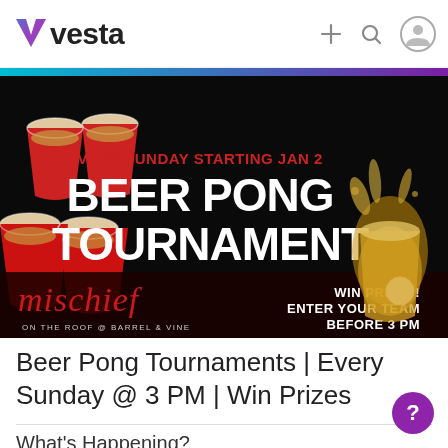vesta
[Figure (photo): Beer Pong Tournament promotional banner. Dark background with red Solo cups on the left and a beer cup with a ping pong ball splash on the right. Text reads: 'EVERY SUNDAY STARTING JAN 2 BEER PONG TOURNAMENT'. Bottom left shows 'Mischief ON THE ROOF @ BARREL & VINE'. Bottom right reads 'WIN PRIZES! ENTER YOUR TEAM BEFORE 3 PM'.]
Beer Pong Tournaments | Every Sunday @ 3 PM | Win Prizes
What's Happening?